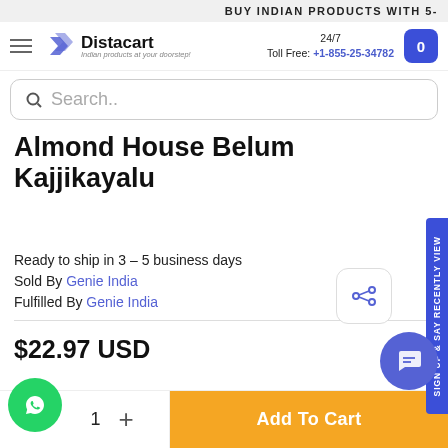BUY INDIAN PRODUCTS WITH 5-
[Figure (logo): Distacart logo with hamburger menu, search bar, 24/7 Toll Free phone number +1-855-25-34782 and cart button]
Almond House Belum Kajjikayalu
Ready to ship in 3 - 5 business days
Sold By Genie India
Fulfilled By Genie India
$22.97 USD
1 + Add To Cart